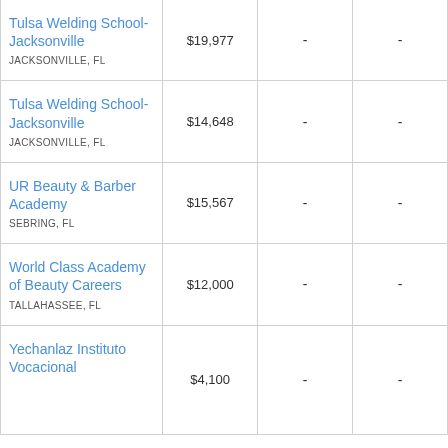| Institution | Cost |  |  |
| --- | --- | --- | --- |
| Tulsa Welding School-Jacksonville
JACKSONVILLE, FL | $19,977 | - | - |
| Tulsa Welding School-Jacksonville
JACKSONVILLE, FL | $14,648 | - | - |
| UR Beauty & Barber Academy
SEBRING, FL | $15,567 | - | - |
| World Class Academy of Beauty Careers
TALLAHASSEE, FL | $12,000 | - | - |
| Yechanlaz Instituto Vocacional | $4,100 | - | - |